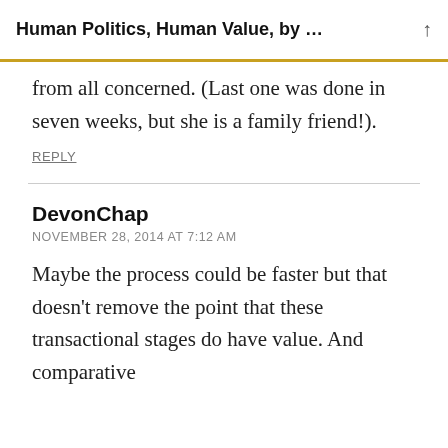Human Politics, Human Value, by ...
from all concerned. (Last one was done in seven weeks, but she is a family friend!).
REPLY
DevonChap
NOVEMBER 28, 2014 AT 7:12 AM
Maybe the process could be faster but that doesn't remove the point that these transactional stages do have value. And comparative